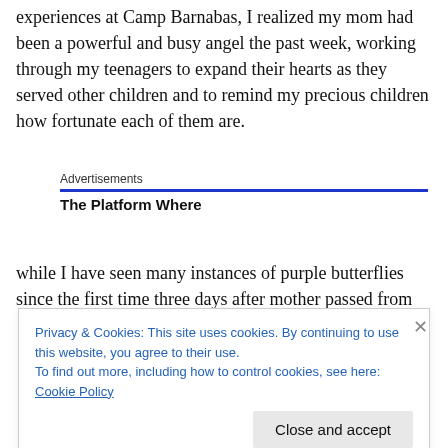experiences at Camp Barnabas, I realized my mom had been a powerful and busy angel the past week, working through my teenagers to expand their hearts as they served other children and to remind my precious children how fortunate each of them are.
Advertisements
The Platform Where
while I have seen many instances of purple butterflies since the first time three days after mother passed from
Privacy & Cookies: This site uses cookies. By continuing to use this website, you agree to their use.
To find out more, including how to control cookies, see here: Cookie Policy
Close and accept